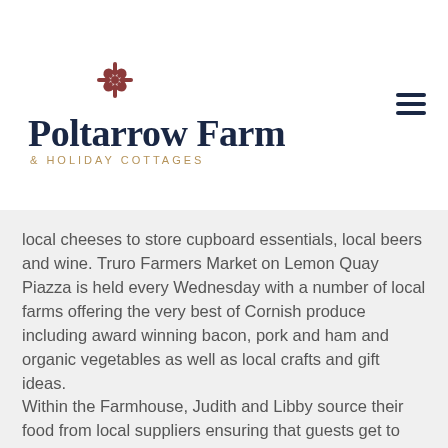[Figure (logo): Poltarrow Farm & Holiday Cottages logo with decorative floral icon above the text]
local cheeses to store cupboard essentials, local beers and wine. Truro Farmers Market on Lemon Quay Piazza is held every Wednesday with a number of local farms offering the very best of Cornish produce including award winning bacon, pork and ham and organic vegetables as well as local crafts and gift ideas.
Within the Farmhouse, Judith and Libby source their food from local suppliers ensuring that guests get to taste the best of what Cornwall has to offer.
In your cottage you will find further information on great places to eat, shop and take-aways.